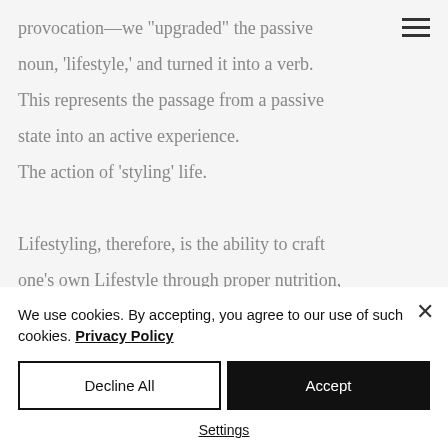provocation—we "upgraded" the passive noun, 'lifestyle,' and turned it into a verb. This represents the passage from a passive state into an active experience. The action of 'styling' life.

Lifestyling, therefore, is the ability to craft one's own Lifestyle through proper nutrition, good health, good fitness and a good mind—and by exploring the synergy between these elements.
We use cookies. By accepting, you agree to our use of such cookies. Privacy Policy
Decline All
Accept
Settings